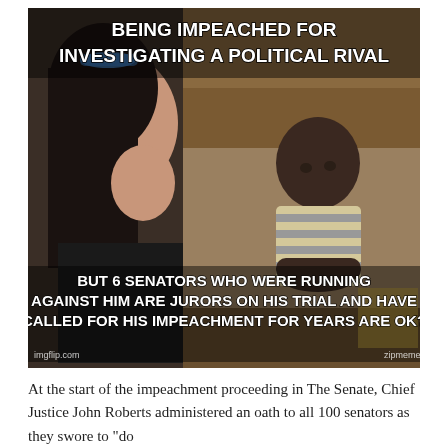[Figure (photo): Meme image using the 'Third World Skeptical Kid' format. Top text reads 'BEING IMPEACHED FOR INVESTIGATING A POLITICAL RIVAL'. Bottom text reads 'BUT 6 SENATORS WHO WERE RUNNING AGAINST HIM ARE JURORS ON HIS TRIAL AND HAVE CALLED FOR HIS IMPEACHMENT FOR YEARS ARE OK?' Attribution watermarks: imgflip.com and zipmeme.]
At the start of the impeachment proceeding in The Senate, Chief Justice John Roberts administered an oath to all 100 senators as they swore to "do